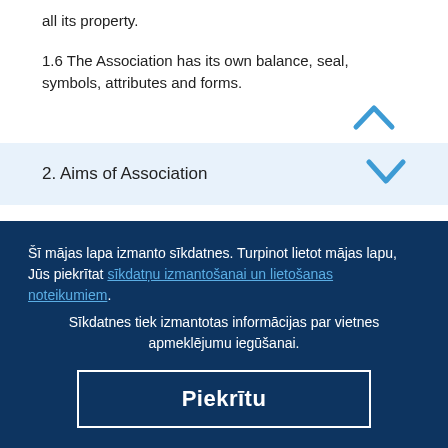all its property.
1.6 The Association has its own balance, seal, symbols, attributes and forms.
2. Aims of Association
Šī mājas lapa izmanto sīkdatnes. Turpinot lietot mājas lapu, Jūs piekrītat sīkdatņu izmantošanai un lietošanas noteikumiem.
Sīkdatnes tiek izmantotas informācijas par vietnes apmeklējumu iegūšanai.
Piekrītu